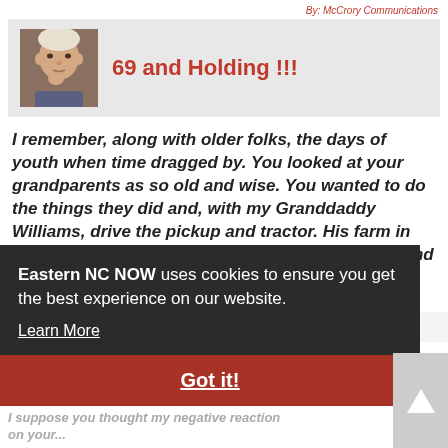By: McCrory Communications
69 and Holding !!!
I remember, along with older folks, the days of youth when time dragged by. You looked at your grandparents as so old and wise. You wanted to do the things they did and, with my Granddaddy Williams, drive the pickup and tractor. His farm in Pickens County, SC, was the land of my dreams and wonder.
Eastern NC NOW uses cookies to ensure you get the best experience on our website. Learn More
Got it!